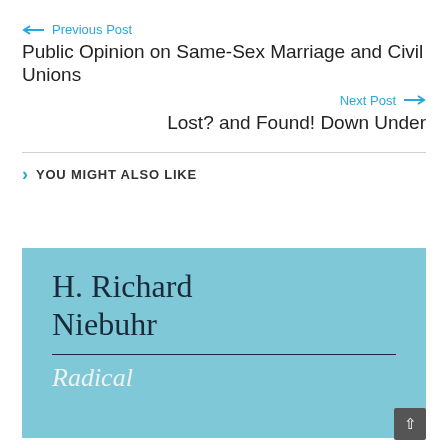← Previous Post
Public Opinion on Same-Sex Marriage and Civil Unions
Next Post →
Lost? and Found! Down Under
> YOU MIGHT ALSO LIKE
[Figure (photo): Book cover with light blue background showing the author name 'H. Richard Niebuhr' in dark serif font, a horizontal rule, and the beginning of an italic title word 'Radical' in white serif italic font]